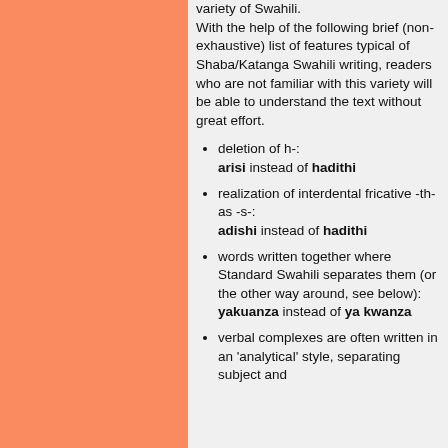variety of Swahili. With the help of the following brief (non-exhaustive) list of features typical of Shaba/Katanga Swahili writing, readers who are not familiar with this variety will be able to understand the text without great effort.
deletion of h-: arisi instead of hadithi
realization of interdental fricative -th- as -s-: adishi instead of hadithi
words written together where Standard Swahili separates them (or the other way around, see below): yakuanza instead of ya kwanza
verbal complexes are often written in an 'analytical' style, separating subject and